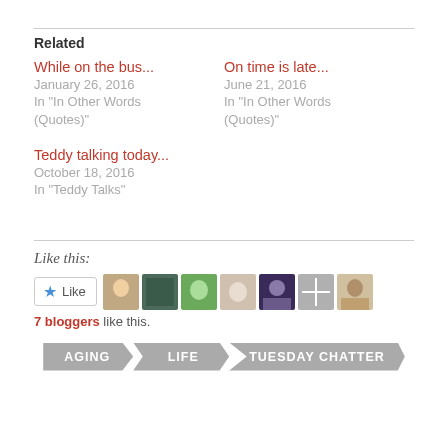Related
While on the bus...
January 26, 2016
In "In Other Words (Quotes)"
On time is late...
June 21, 2016
In "In Other Words (Quotes)"
Teddy talking today...
October 18, 2016
In "Teddy Talks"
Like this:
7 bloggers like this.
AGING   LIFE   TUESDAY CHATTER